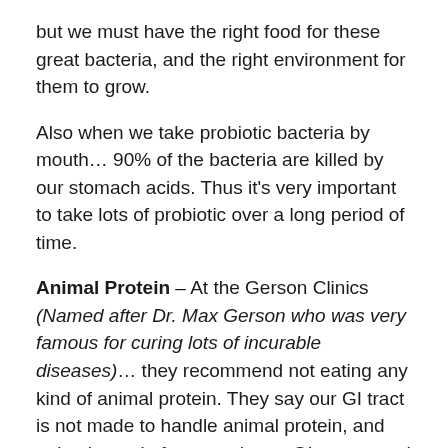but we must have the right food for these great bacteria, and the right environment for them to grow.
Also when we take probiotic bacteria by mouth… 90% of the bacteria are killed by our stomach acids. Thus it's very important to take lots of probiotic over a long period of time.
Animal Protein – At the Gerson Clinics (Named after Dr. Max Gerson who was very famous for curing lots of incurable diseases)… they recommend not eating any kind of animal protein. They say our GI tract is not made to handle animal protein, and animal protein ferments in our GI tract… and eventually causes problems with our immune system.
The Bottom Line – The final result is that we need to eat